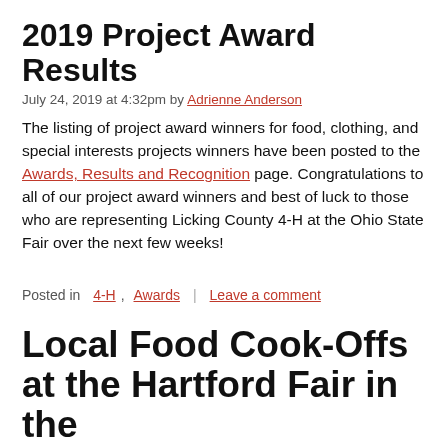2019 Project Award Results
July 24, 2019 at 4:32pm by Adrienne Anderson
The listing of project award winners for food, clothing, and special interests projects winners have been posted to the Awards, Results and Recognition page. Congratulations to all of our project award winners and best of luck to those who are representing Licking County 4-H at the Ohio State Fair over the next few weeks!
Posted in  4-H,  Awards  |  Leave a comment
Local Food Cook-Offs at the Hartford Fair in the